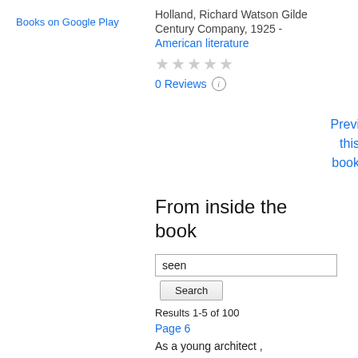Books on Google Play
Holland, Richard Watson Gilder Century Company, 1925 -
American literature
[Figure (other): Five empty grey stars rating]
0 Reviews
Preview this book
From inside the book
seen
Search
Results 1-5 of 100
Page 6
As a young architect , and some distant road , seen before his uncle died , he had spent two